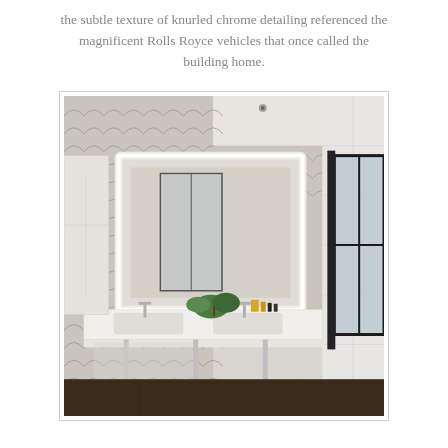the subtle texture of knurled chrome detailing referenced the magnificent Rolls Royce vehicles that once called the building home.
[Figure (photo): Interior bathroom photo showing a modern bathroom with scallop-patterned wallpaper, a large backlit rectangular mirror, a white double vanity with chrome legs, green monstera plant on the counter, dark marble floor, and a window with black frames on the right side.]